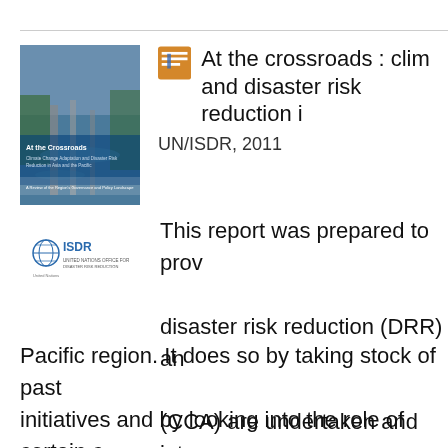[Figure (illustration): Book cover of 'At the Crossroads: Climate Change Adaptation and Disaster Risk Reduction in Asia and the Pacific' showing an aerial flood photograph]
At the crossroads : clim and disaster risk reduction i UN/ISDR, 2011
[Figure (logo): UNISDR logo with globe icon and text 'ISDR' and 'United Nations Office for Disaster Risk Reduction']
This report was prepared to prov disaster risk reduction (DRR) an (CCA) are undertaken and integ Pacific region. It does so by taking stock of past initiatives and by looking into the role of certain c implementation process. It also discusses key de political, policy and institutional—which are instru integration of DRR and CCA agendas in the regi